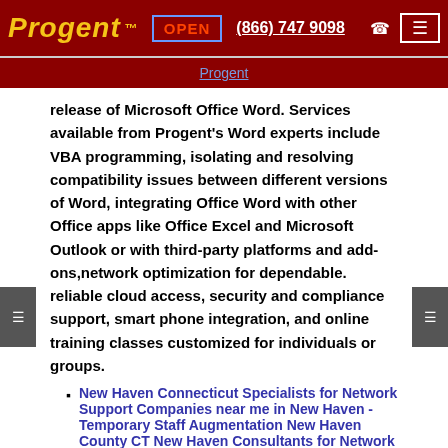Progent™  OPEN  (866) 747 9098  ☎
Progent
release of Microsoft Office Word. Services available from Progent's Word experts include VBA programming, isolating and resolving compatibility issues between different versions of Word, integrating Office Word with other Office apps like Office Excel and Microsoft Outlook or with third-party platforms and add-ons,network optimization for dependable. reliable cloud access, security and compliance support, smart phone integration, and online training classes customized for individuals or groups.
New Haven Connecticut Specialists for Network Support Companies near me in New Haven - Temporary Staff Augmentation New Haven County CT New Haven Consultants for Network Service Providers
New Haven County CT IT Staff Temps for Network Support Teams New Haven Supplemetary IT Staffing Services New Haven County CT